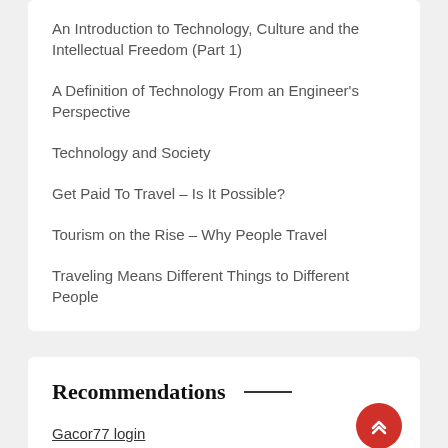An Introduction to Technology, Culture and the Intellectual Freedom (Part 1)
A Definition of Technology From an Engineer's Perspective
Technology and Society
Get Paid To Travel – Is It Possible?
Tourism on the Rise – Why People Travel
Traveling Means Different Things to Different People
Recommendations
Gacor77 login